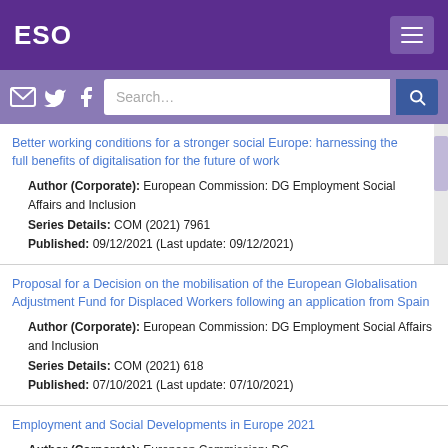ESO
Search...
Better working conditions for a stronger social Europe: harnessing the full benefits of digitalisation for the future of work
Author (Corporate): European Commission: DG Employment Social Affairs and Inclusion
Series Details: COM (2021) 7961
Published: 09/12/2021 (Last update: 09/12/2021)
Proposal for a Decision on the mobilisation of the European Globalisation Adjustment Fund for Displaced Workers following an application from Spain
Author (Corporate): European Commission: DG Employment Social Affairs and Inclusion
Series Details: COM (2021) 618
Published: 07/10/2021 (Last update: 07/10/2021)
Employment and Social Developments in Europe 2021
Author (Corporate): European Commission: DG